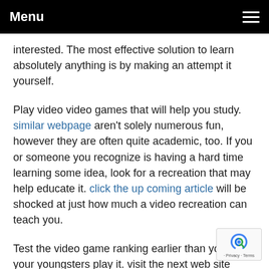Menu
interested. The most effective solution to learn absolutely anything is by making an attempt it yourself.
Play video video games that will help you study. similar webpage aren't solely numerous fun, however they are often quite academic, too. If you or someone you recognize is having a hard time learning some idea, look for a recreation that may help educate it. click the up coming article will be shocked at just how much a video recreation can teach you.
Test the video game ranking earlier than you let your youngsters play it. visit the next web site comprise a